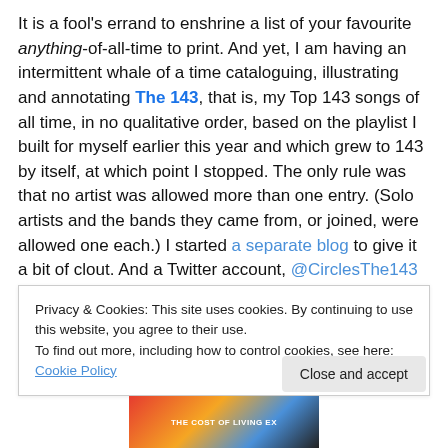It is a fool's errand to enshrine a list of your favourite anything-of-all-time to print. And yet, I am having an intermittent whale of a time cataloguing, illustrating and annotating The 143, that is, my Top 143 songs of all time, in no qualitative order, based on the playlist I built for myself earlier this year and which grew to 143 by itself, at which point I stopped. The only rule was that no artist was allowed more than one entry. (Solo artists and the bands they came from, or joined, were allowed one each.) I started a separate blog to give it a bit of clout. And a Twitter account, @CirclesThe143 (based on the
Privacy & Cookies: This site uses cookies. By continuing to use this website, you agree to their use.
To find out more, including how to control cookies, see here: Cookie Policy
Close and accept
[Figure (photo): Partial view of a colorful image at the bottom of the page, showing red, orange, blue and dark colors, partially obscured]